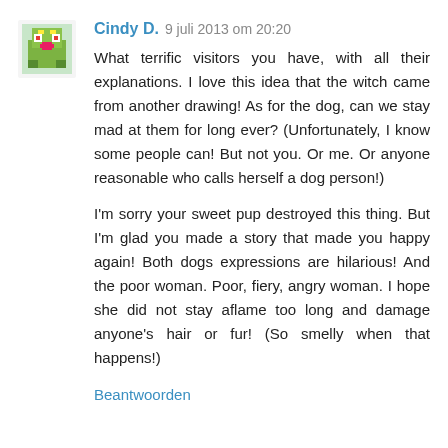Cindy D. 9 juli 2013 om 20:20
What terrific visitors you have, with all their explanations. I love this idea that the witch came from another drawing! As for the dog, can we stay mad at them for long ever? (Unfortunately, I know some people can! But not you. Or me. Or anyone reasonable who calls herself a dog person!)
I'm sorry your sweet pup destroyed this thing. But I'm glad you made a story that made you happy again! Both dogs expressions are hilarious! And the poor woman. Poor, fiery, angry woman. I hope she did not stay aflame too long and damage anyone's hair or fur! (So smelly when that happens!)
Beantwoorden
Rod MacGregor 10 juli 2013 om 10:49
Exploding sweets, witch and dogs...this makes Harry Potter seem tame!